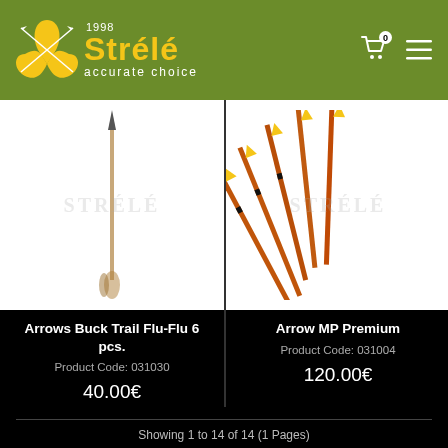[Figure (logo): Strélé archery brand logo with yellow shield/arrow icon and yellow brand name on olive green header background. Tagline: accurate choice. Year: 1998.]
[Figure (photo): Photo of a single wooden arrow (Buck Trail Flu-Flu) shown vertically against white background with STRÉLÉ watermark]
Arrows Buck Trail Flu-Flu 6 pcs.
Product Code: 031030
40.00€
[Figure (photo): Photo of multiple orange/red arrows with yellow fletching and black rings (Arrow MP Premium) against white background with STRÉLÉ watermark]
Arrow MP Premium
Product Code: 031004
120.00€
Showing 1 to 14 of 14 (1 Pages)